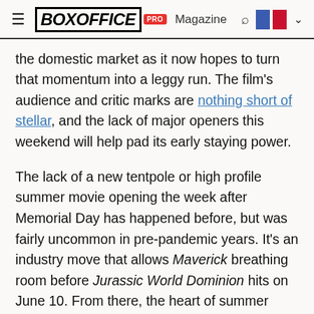BoxOffice PRO Magazine
the domestic market as it now hopes to turn that momentum into a leggy run. The film's audience and critic marks are nothing short of stellar, and the lack of major openers this weekend will help pad its early staying power.
The lack of a new tentpole or high profile summer movie opening the week after Memorial Day has happened before, but was fairly uncommon in pre-pandemic years. It's an industry move that allows Maverick breathing room before Jurassic World Dominion hits on June 10. From there, the heart of summer moviegoing will be in full swing as major releases hit cinemas nearly every week through